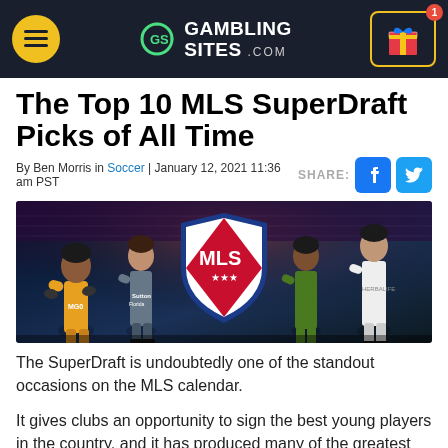GAMBLING SITES .COM
The Top 10 MLS SuperDraft Picks of All Time
By Ben Morris in Soccer | January 12, 2021 11:36 am PST
[Figure (photo): MLS SuperDraft promotional banner image showing four soccer players in various MLS team uniforms with the MLS shield logo in the center, stadium background]
The SuperDraft is undoubtedly one of the standout occasions on the MLS calendar.
It gives clubs an opportunity to sign the best young players in the country, and it has produced many of the greatest